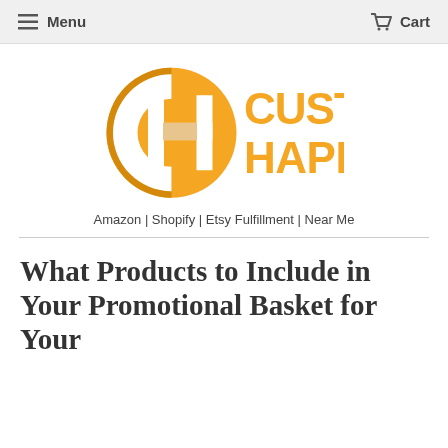Menu   Cart
[Figure (logo): Custom Happy logo — orange circular 'CH' monogram with orange 'CUSTOM HAPPY' wordmark text]
Amazon | Shopify | Etsy Fulfillment | Near Me
What Products to Include in Your Promotional Basket for Your